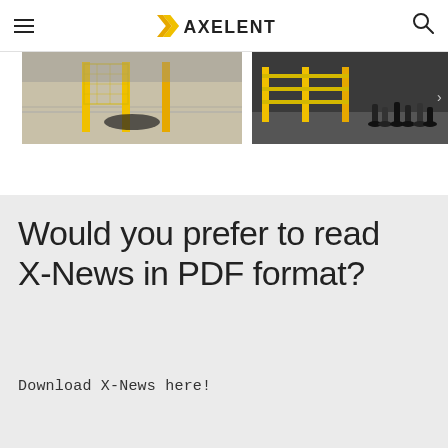AXELENT
[Figure (photo): Two photos side by side showing industrial safety fencing with yellow poles in a warehouse/factory setting. Left photo shows floor-level safety gates with black cables. Right photo shows people walking past yellow safety barriers.]
Would you prefer to read X-News in PDF format?
Download X-News here!